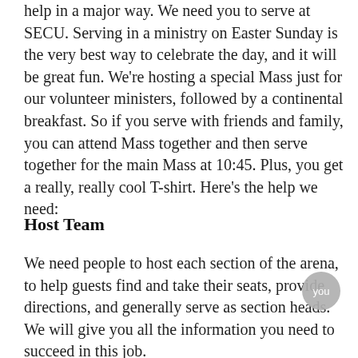help in a major way. We need you to serve at SECU. Serving in a ministry on Easter Sunday is the very best way to celebrate the day, and it will be great fun. We're hosting a special Mass just for our volunteer ministers, followed by a continental breakfast. So if you serve with friends and family, you can attend Mass together and then serve together for the main Mass at 10:45. Plus, you get a really, really cool T-shirt. Here's the help we need:
Host Team
We need people to host each section of the arena, to help guests find and take their seats, provide directions, and generally serve as section heads. We will give you all the information you need to succeed in this job.